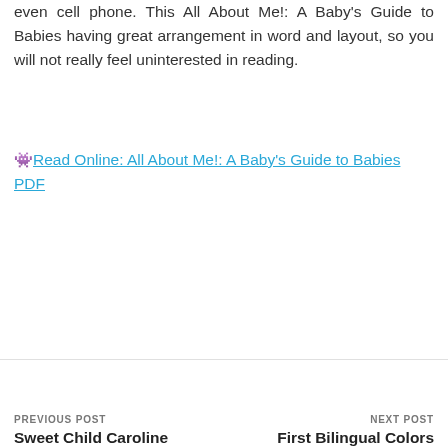even cell phone. This All About Me!: A Baby's Guide to Babies having great arrangement in word and layout, so you will not really feel uninterested in reading.
Read Online: All About Me!: A Baby's Guide to Babies PDF
PREVIOUS POST: Sweet Child Caroline | NEXT POST: First Bilingual Colors